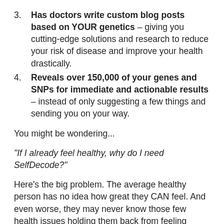3. Has doctors write custom blog posts based on YOUR genetics – giving you cutting-edge solutions and research to reduce your risk of disease and improve your health drastically.
4. Reveals over 150,000 of your genes and SNPs for immediate and actionable results – instead of only suggesting a few things and sending you on your way.
You might be wondering...
"If I already feel healthy, why do I need SelfDecode?"
Here's the big problem. The average healthy person has no idea how great they CAN feel. And even worse, they may never know those few health issues holding them back from feeling incredible.